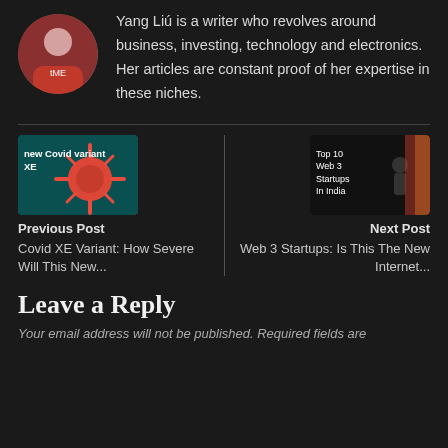Yang Liú is a writer who revolves around business, investing, technology and electronics. Her articles are constant proof of her expertise in these niches.
Previous Post
Covid XE Variant: How Severe Will This New...
Next Post
Web 3 Startups: Is This The New Internet...
Leave a Reply
Your email address will not be published. Required fields are